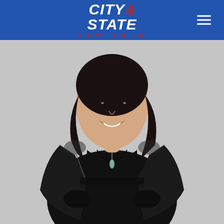CITY & STATE NEW YORK
[Figure (photo): A smiling Asian woman with long dark hair, wearing a black v-neck top and a black jacket with zipper details, and a light blue/green pendant necklace. Her hands are in her pockets. The background is light gray.]